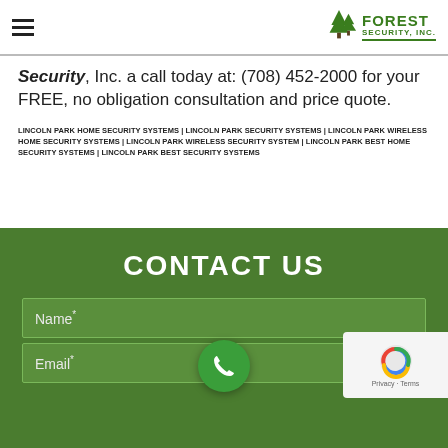Forest Security, Inc. — navigation header with hamburger menu and logo
Security, Inc. a call today at: (708) 452-2000 for your FREE, no obligation consultation and price quote.
LINCOLN PARK HOME SECURITY SYSTEMS | LINCOLN PARK SECURITY SYSTEMS | LINCOLN PARK WIRELESS HOME SECURITY SYSTEMS | LINCOLN PARK WIRELESS SECURITY SYSTEM | LINCOLN PARK BEST HOME SECURITY SYSTEMS | LINCOLN PARK BEST SECURITY SYSTEMS
CONTACT US
Name*
Email*